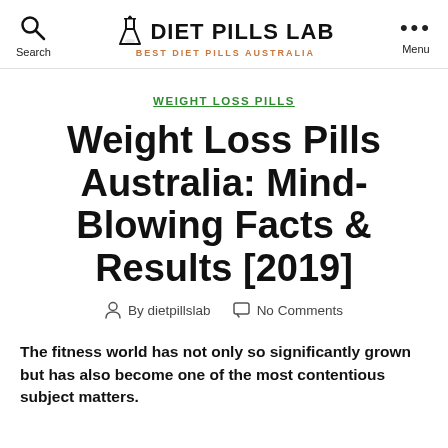Search | DIET PILLS LAB BEST DIET PILLS AUSTRALIA | Menu
WEIGHT LOSS PILLS
Weight Loss Pills Australia: Mind-Blowing Facts & Results [2019]
By dietpillslab   No Comments
The fitness world has not only so significantly grown but has also become one of the most contentious subject matters.